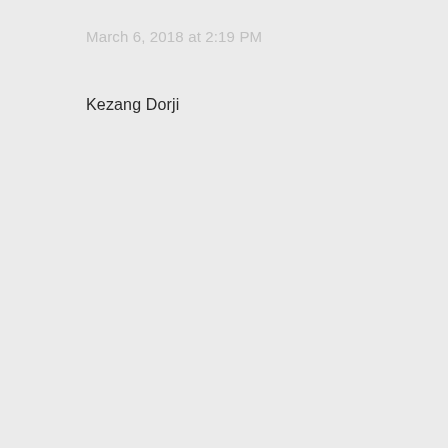March 6, 2018 at 2:19 PM
Kezang Dorji